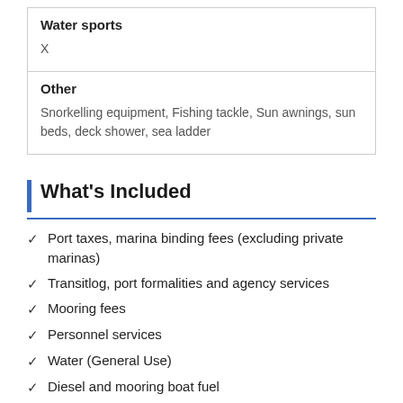| Water sports |  |
| X |  |
| Other |  |
| Snorkelling equipment, Fishing tackle, Sun awnings, sun beds, deck shower, sea ladder |  |
What's Included
Port taxes, marina binding fees (excluding private marinas)
Transitlog, port formalities and agency services
Mooring fees
Personnel services
Water (General Use)
Diesel and mooring boat fuel
Daily cleaning and change of bed linen